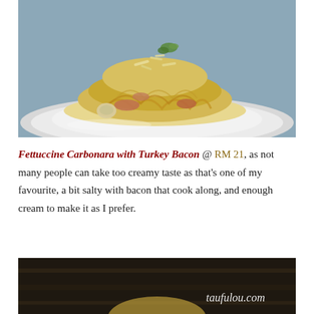[Figure (photo): Close-up photo of Fettuccine Carbonara with Turkey Bacon on a white plate, topped with shredded parmesan cheese and garnished with herbs, creamy yellow pasta with salmon/bacon pieces visible]
Fettuccine Carbonara with Turkey Bacon @ RM 21, as not many people can take too creamy taste as that's one of my favourite, a bit salty with bacon that cook along, and enough cream to make it as I prefer.
[Figure (photo): Partial bottom photo of another food dish, dark background, with watermark taufulou.com in italic white text]